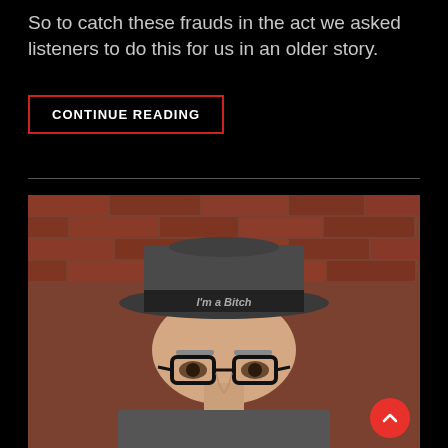So to catch these frauds in the act we asked listeners to do this for us in an older story.
CONTINUE READING
[Figure (photo): Man wearing a dark fedora hat with a band that reads 'I'm a Bitch', wearing black-rimmed glasses, against a brick wall background.]